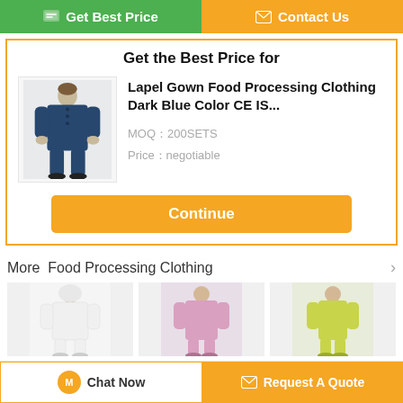[Figure (other): Green 'Get Best Price' button and orange 'Contact Us' button at top]
Get the Best Price for
[Figure (photo): Product image of person wearing dark blue lapel gown food processing clothing]
Lapel Gown Food Processing Clothing Dark Blue Color CE IS...
MOQ：200SETS
Price：negotiable
[Figure (other): Orange 'Continue' button]
More  Food Processing Clothing
[Figure (photo): White food processing clothing worn by person]
Multi Color
[Figure (photo): Reusable pink food processing clothing]
Reusable Pink
[Figure (photo): Straight open button food processing clothing in yellow-green]
Straight Open
[Figure (other): Bottom bar with 'Chat Now' and 'Request A Quote' buttons]